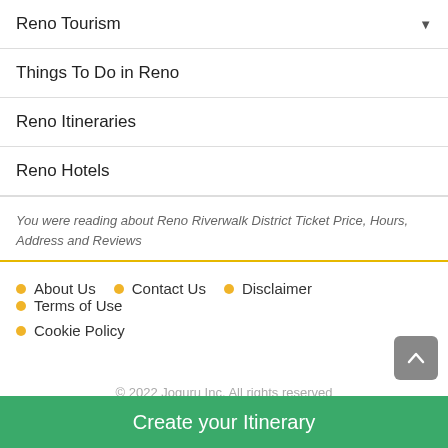Reno Tourism
Things To Do in Reno
Reno Itineraries
Reno Hotels
You were reading about Reno Riverwalk District Ticket Price, Hours, Address and Reviews
About Us
Contact Us
Disclaimer
Terms of Use
Cookie Policy
© 2022 Joguru Inc. All rights reserved
Create your Itinerary